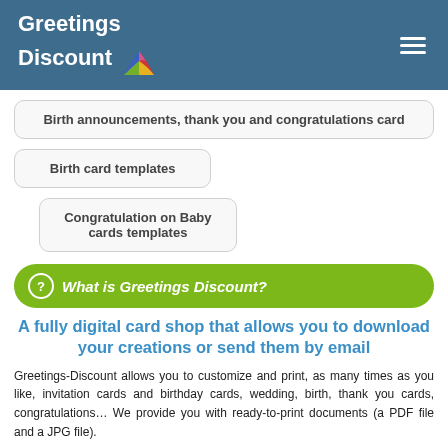Greetings Discount
Birth announcements, thank you and congratulations card
Birth card templates
Congratulation on Baby cards templates
What is Greetings Discount?
A fully digital card shop that allows you to download your creations or send them by email
Greetings-Discount allows you to customize and print, as many times as you like, invitation cards and birthday cards, wedding, birth, thank you cards, congratulations... We provide you with ready-to-print documents (a PDF file and a JPG file).